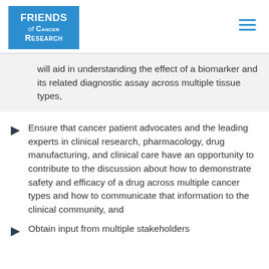Friends of Cancer Research
will aid in understanding the effect of a biomarker and its related diagnostic assay across multiple tissue types,
Ensure that cancer patient advocates and the leading experts in clinical research, pharmacology, drug manufacturing, and clinical care have an opportunity to contribute to the discussion about how to demonstrate safety and efficacy of a drug across multiple cancer types and how to communicate that information to the clinical community, and
Obtain input from multiple stakeholders